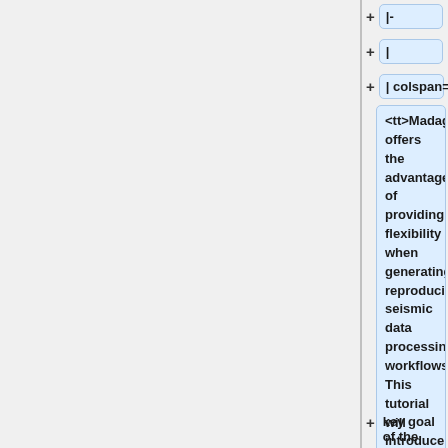|-
|
| colspan="2"  |
<tt>Madagascar</tt> offers the advantage of providing flexibility when generating reproducible seismic data processing workflows. This tutorial will introduce you to a 2D seismic data processing workflow using the Nankai dataset. The key goal of the